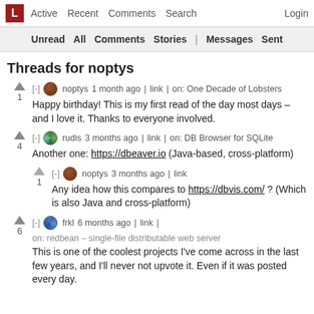L Active Recent Comments Search Login
Unread All Comments Stories | Messages Sent
Threads for noptys
noptys 1 month ago | link | on: One Decade of Lobsters
Happy birthday! This is my first read of the day most days – and I love it. Thanks to everyone involved.
rudis 3 months ago | link | on: DB Browser for SQLite
Another one: https://dbeaver.io (Java-based, cross-platform)
noptys 3 months ago | link
Any idea how this compares to https://dbvis.com/ ? (Which is also Java and cross-platform)
frkl 6 months ago | link | on: redbean – single-file distributable web server
This is one of the coolest projects I've come across in the last few years, and I'll never not upvote it. Even if it was posted every day.